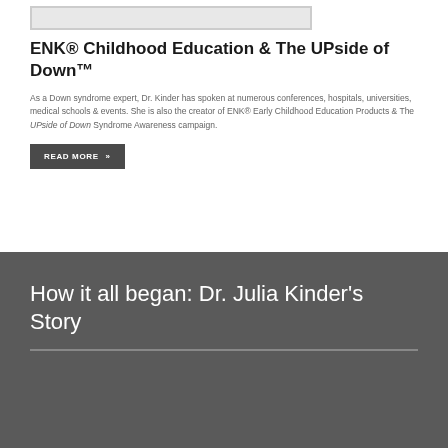[Figure (photo): Partial image at the top of the page, cropped]
ENK® Childhood Education & The UPside of Down™
As a Down syndrome expert, Dr. Kinder has spoken at numerous conferences, hospitals, universities, medical schools & events. She is also the creator of ENK® Early Childhood Education Products & The UPside of Down Syndrome Awareness campaign.
READ MORE »»
How it all began: Dr. Julia Kinder's Story